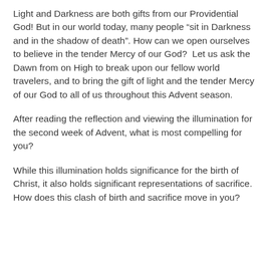Light and Darkness are both gifts from our Providential God! But in our world today, many people “sit in Darkness and in the shadow of death”. How can we open ourselves to believe in the tender Mercy of our God?  Let us ask the Dawn from on High to break upon our fellow world travelers, and to bring the gift of light and the tender Mercy of our God to all of us throughout this Advent season.
After reading the reflection and viewing the illumination for the second week of Advent, what is most compelling for you?
While this illumination holds significance for the birth of Christ, it also holds significant representations of sacrifice.  How does this clash of birth and sacrifice move in you?